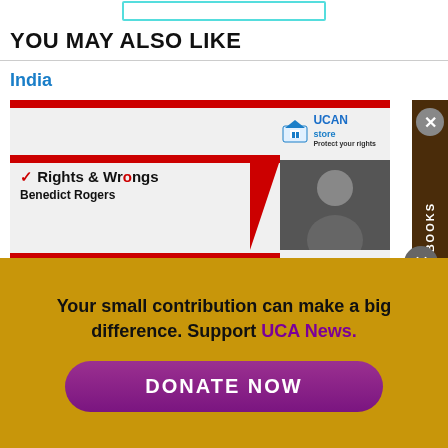YOU MAY ALSO LIKE
India
[Figure (screenshot): UCAN Store advertisement featuring 'Rights & Wrongs' by Benedict Rogers with a sidebar labeled 'SPECIAL EBOOKS']
Your small contribution can make a big difference. Support UCA News.
DONATE NOW